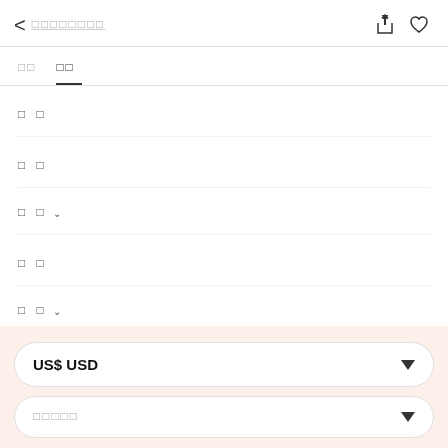< □□□□□□□□
□□  □□
□□
□□
□□ ∨
□□
□□ ∨
US$ USD
□□□□□